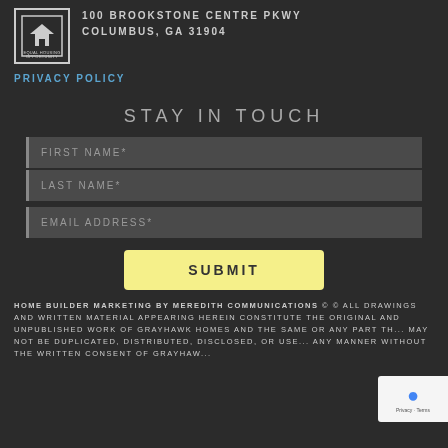[Figure (logo): Equal Housing Opportunity logo — square box with house icon and text]
100 BROOKSTONE CENTRE PKWY
COLUMBUS, GA 31904
PRIVACY POLICY
STAY IN TOUCH
FIRST NAME*
LAST NAME*
EMAIL ADDRESS*
SUBMIT
HOME BUILDER MARKETING BY MEREDITH COMMUNICATIONS © © ALL DRAWINGS AND WRITTEN MATERIAL APPEARING HEREIN CONSTITUTE THE ORIGINAL AND UNPUBLISHED WORK OF GRAYHAWK HOMES AND THE SAME OR ANY PART THEREOF MAY NOT BE DUPLICATED, DISTRIBUTED, DISCLOSED, OR USED IN ANY MANNER WITHOUT THE WRITTEN CONSENT OF GRAYHAWK